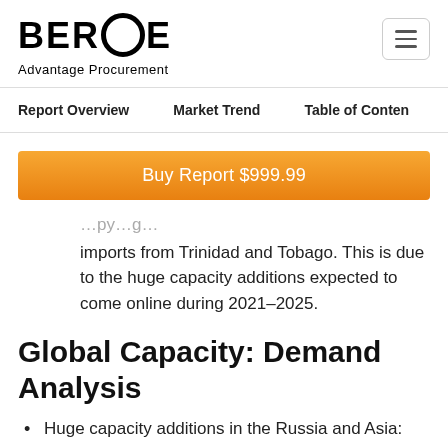BEROE Advantage Procurement
Report Overview   Market Trend   Table of Contents
Buy Report $999.99
imports from Trinidad and Tobago. This is due to the huge capacity additions expected to come online during 2021–2025.
Global Capacity: Demand Analysis
Huge capacity additions in the Russia and Asia: More than a dozen of standalone and integrated ammonium plants are nearing